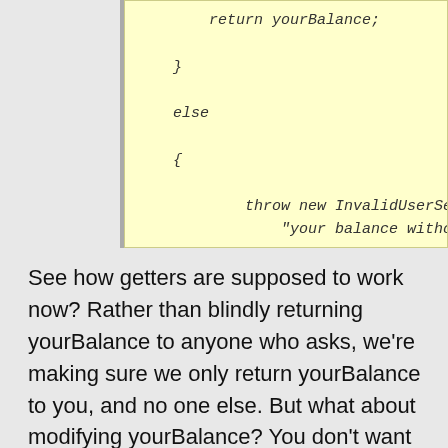[Figure (other): Code block with yellow background showing Java/C# code snippet: return yourBalance; closing brace, else block with throw new InvalidUserSessionException call and string literal 'your balance without you being logge...' followed by closing braces]
See how getters are supposed to work now? Rather than blindly returning yourBalance to anyone who asks, we're making sure we only return yourBalance to you, and no one else. But what about modifying yourBalance? You don't want me arbitrarily setting your balance, and your bank doesn't want you setting your balance to $4,000,000,000,000 simply because you want to feel rich. Here's the thing about getters